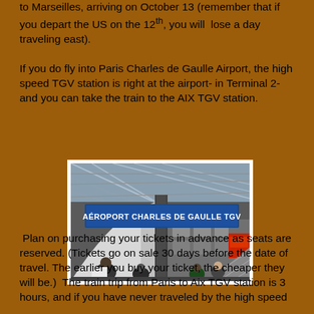to Marseilles, arriving on October 13 (remember that if you depart the US on the 12th, you will lose a day traveling east).
If you do fly into Paris Charles de Gaulle Airport, the high speed TGV station is right at the airport- in Terminal 2- and you can take the train to the AIX TGV station.
[Figure (photo): Photo of the Aéroport Charles de Gaulle TGV station entrance, showing a large blue sign reading 'AEROPORT CHARLES DE GAULLE TGV', glass roof structure, concrete pillars, and travelers in the foreground.]
Plan on purchasing your tickets in advance as seats are reserved. (Tickets go on sale 30 days before the date of travel. The earlier you buy your ticket, the cheaper they will be.) The train trip from Paris to Aix TGV station is 3 hours, and if you have never traveled by the high speed